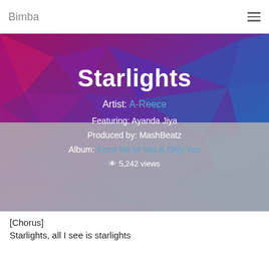Bimba
[Figure (illustration): Colorful low-poly geometric background with purple, magenta, and blue triangular facets, used as hero banner background]
Starlights
Artist: A-Reece
Featuring: Ayanda Jiya
Produced by: MashBeatz
Album: From Me to You & Only You
5,242 views
[Chorus]
Starlights, all I see is starlights